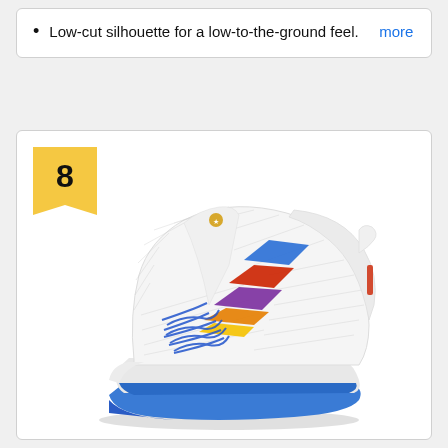Low-cut silhouette for a low-to-the-ground feel. more
[Figure (photo): White low-cut basketball sneaker with blue sole, blue laces, and colorful chevron pattern (blue, red, purple, orange, yellow) on the side. Numbered 8 in a yellow badge at top left of the product card.]